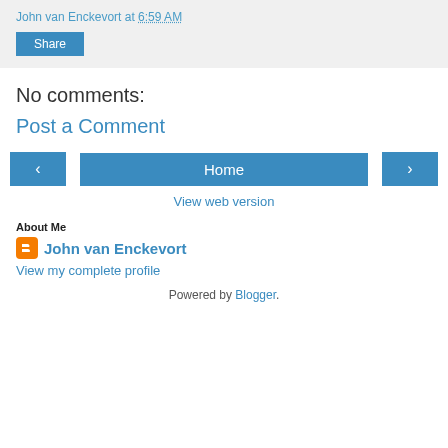John van Enckevort at 6:59 AM
Share
No comments:
Post a Comment
‹
Home
›
View web version
About Me
John van Enckevort
View my complete profile
Powered by Blogger.